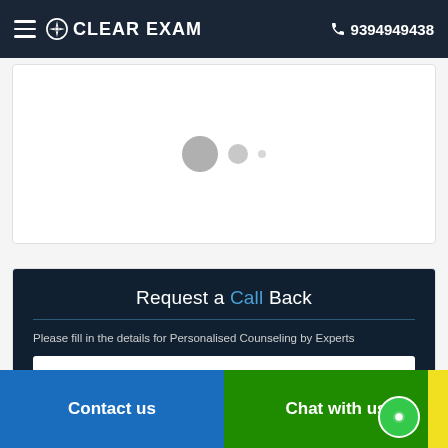CLEAR EXAM  9394949438
[Figure (other): Loading indicator with three circles of decreasing size (large grey, medium grey, small dot)]
Request a Call Back
Please fill in the details for Personalised Counseling by Experts
Select Course*
Contact us  |  Chat with us